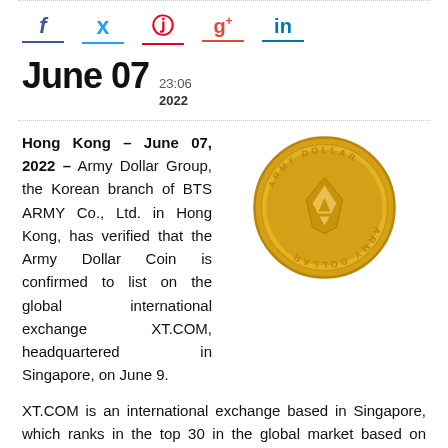[Figure (infographic): Social media share icons: Facebook (f), Twitter bird, Pinterest (p), Google+ (g+), LinkedIn (in), each with a colored underline]
June 07  23:06 2022
Hong Kong – June 07, 2022 – Army Dollar Group, the Korean branch of BTS ARMY Co., Ltd. in Hong Kong, has verified that the Army Dollar Coin is confirmed to list on the global international exchange XT.COM, headquartered in Singapore, on June 9.
[Figure (logo): Army Dollar gold coin logo — circular gold coin with 'ARMY DOLLAR' text around the edge and a stylized letter A symbol in the center]
XT.COM is an international exchange based in Singapore, which ranks in the top 30 in the global market based on CoinMarketCap and in the top 10 globally based on the 24-